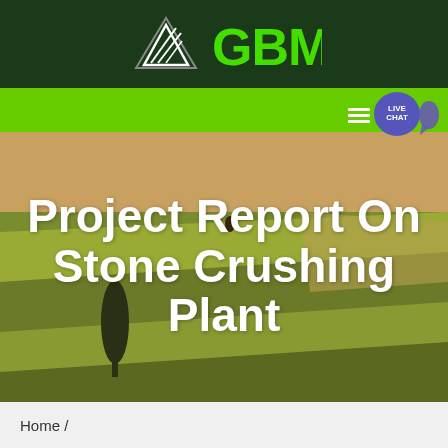[Figure (logo): GBM logo with white arrow/triangle icon on dark green background header bar, with green bold 'GBM' text]
[Figure (illustration): Green navigation bar with hamburger menu icon and purple live chat bubble badge labeled LIVE CHAT]
[Figure (photo): Aerial photo of agricultural fields with rolling hills, warm golden-green tones, with a dark tree/cypress visible on the left side]
Project Report On Stone Crushing Plant
Home /